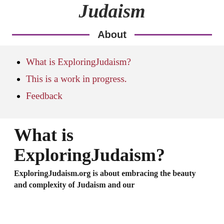Judaism
About
What is ExploringJudaism?
This is a work in progress.
Feedback
What is ExploringJudaism?
ExploringJudaism.org is about embracing the beauty and complexity of Judaism and our